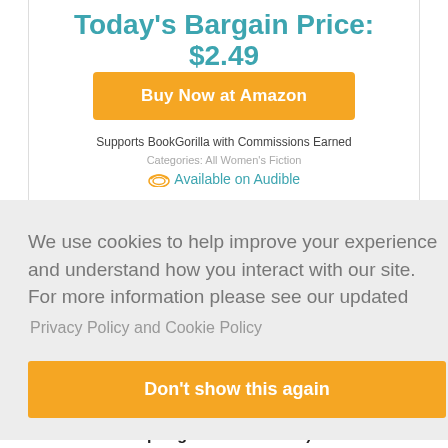Today's Bargain Price: $2.49
Buy Now at Amazon
Supports BookGorilla with Commissions Earned
Categories: All Women's Fiction
Available on Audible
We use cookies to help improve your experience and understand how you interact with our site. For more information please see our updated
Privacy Policy and Cookie Policy
Don't show this again
Springs Series Book 3)